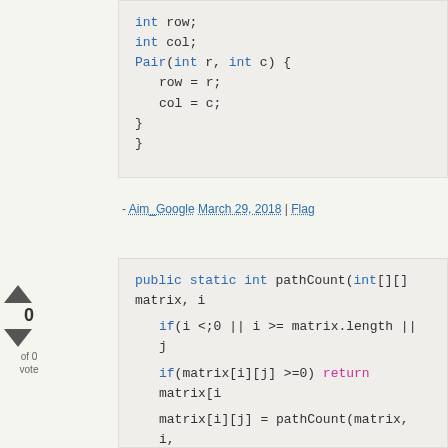int row;
    int col;
    Pair(int r, int c) {
        row = r;
        col = c;
    }
}
- Aim_Google March 29, 2018 | Flag
public static int pathCount(int[][] matrix, i
    if(i <;0 || i >= matrix.length || j
    if(matrix[i][j] >=0) return matrix[i
    matrix[i][j] = pathCount(matrix, i,
    return matrix[i][j];
}